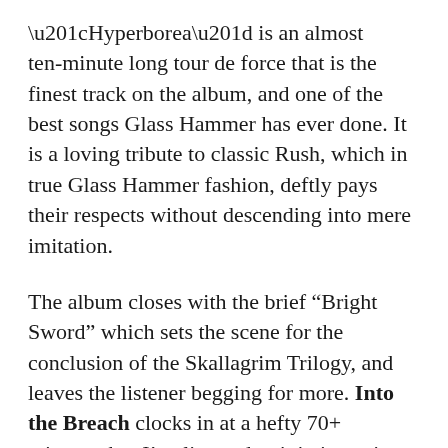“Hyperborea” is an almost ten-minute long tour de force that is the finest track on the album, and one of the best songs Glass Hammer has ever done. It is a loving tribute to classic Rush, which in true Glass Hammer fashion, deftly pays their respects without descending into mere imitation.
The album closes with the brief “Bright Sword” which sets the scene for the conclusion of the Skallagrim Trilogy, and leaves the listener begging for more. Into the Breach clocks in at a hefty 70+ minutes, but I’ve listened to it in its entirety a dozen times, and it never feels labored or long. Every note counts, and every second is an aural pleasure.
After nearly 30 years and more than 20 albums, most artists would be exhausted. With Into the Breach, Glass Hammer are playing as if someone has lit a fire under them; this music is some of the most